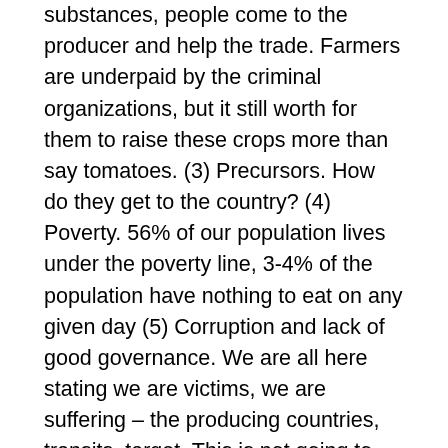substances, people come to the producer and help the trade. Farmers are underpaid by the criminal organizations, but it still worth for them to raise these crops more than say tomatoes. (3) Precursors. How do they get to the country? (4) Poverty. 56% of our population lives under the poverty line, 3-4% of the population have nothing to eat on any given day (5) Corruption and lack of good governance. We are all here stating we are victims, we are suffering – the producing countries, transits, target. This is not going to solve anything. We need a comprehensive approach, we cannot close our eyes to terrorism. Where is heroin really produced – nobody really knows, so we don't have a clear picture. Why are these produced, what is the